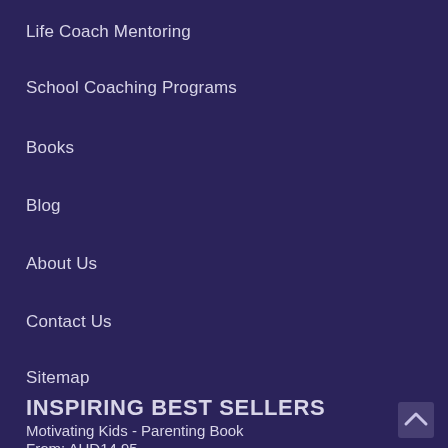Life Coach Mentoring
School Coaching Programs
Books
Blog
About Us
Contact Us
Sitemap
INSPIRING BEST SELLERS
Motivating Kids - Parenting Book
From: AUD14.95